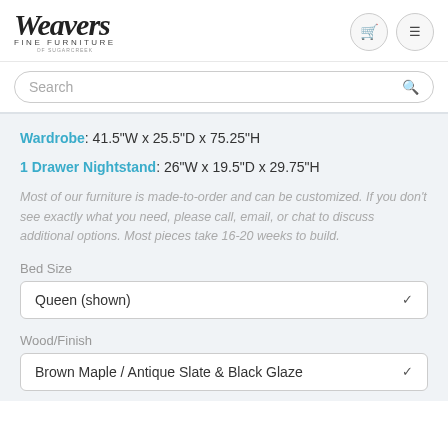[Figure (logo): Weavers Fine Furniture of Sugar Creek logo with cursive Weavers text]
Search
Wardrobe: 41.5"W x 25.5"D x 75.25"H
1 Drawer Nightstand: 26"W x 19.5"D x 29.75"H
Most of our furniture is made-to-order and can be customized. If you don't see exactly what you need, please call, email, or chat to discuss additional options. Most pieces take 16-20 weeks to build.
Bed Size
Queen (shown)
Wood/Finish
Brown Maple / Antique Slate & Black Glaze